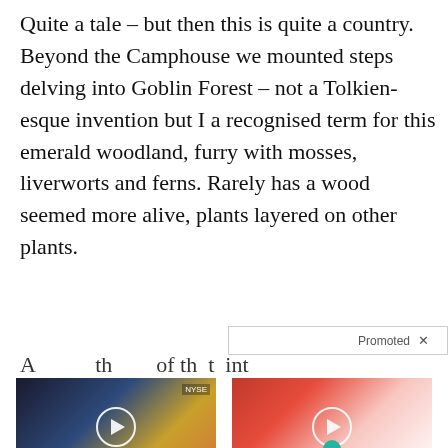Quite a tale – but then this is quite a country. Beyond the Camphouse we mounted steps delving into Goblin Forest – not a Tolkien-esque invention but I a recognised term for this emerald woodland, furry with mosses, liverworts and ferns. Rarely has a wood seemed more alive, plants layered on other plants.
Promoted X
[Figure (screenshot): Promoted ad thumbnail: man in suit at NYSE, with play button overlay. Title: Biden Probably Wants This Video Destroyed — Massive Currency Upheaval Has Started. Count: 8,166]
[Figure (screenshot): Promoted ad thumbnail: closeup of open mouth with tongue and pill, with play button overlay. Title: 4 Worst Blood Pressure Drugs (Avoid At All Costs). Count: 59,178]